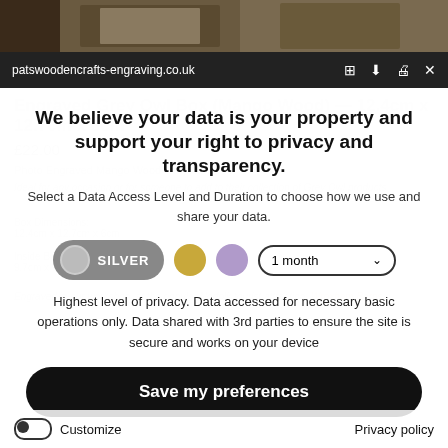[Figure (screenshot): Top portion of product image showing wooden box on white background]
patswoodencrafts-engraving.co.uk
We believe your data is your property and support your right to privacy and transparency.
Select a Data Access Level and Duration to choose how we use and share your data.
SILVER | 1 month
Highest level of privacy. Data accessed for necessary basic operations only. Data shared with 3rd parties to ensure the site is secure and works on your device
Save my preferences
Customize  Privacy policy